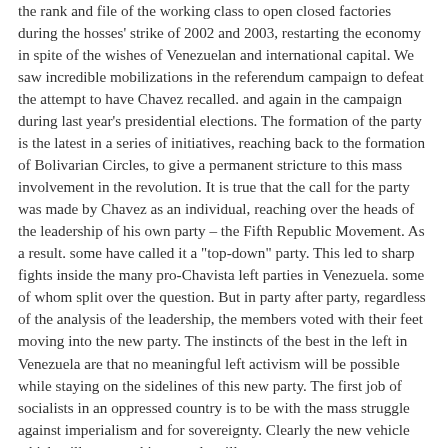the rank and file of the working class to open closed factories during the hosses' strike of 2002 and 2003, restarting the economy in spite of the wishes of Venezuelan and international capital. We saw incredible mobilizations in the referendum campaign to defeat the attempt to have Chavez recalled. and again in the campaign during last year's presidential elections. The formation of the party is the latest in a series of initiatives, reaching back to the formation of Bolivarian Circles, to give a permanent stricture to this mass involvement in the revolution. It is true that the call for the party was made by Chavez as an individual, reaching over the heads of the leadership of his own party – the Fifth Republic Movement. As a result. some have called it a "top-down" party. This led to sharp fights inside the many pro-Chavista left parties in Venezuela. some of whom split over the question. But in party after party, regardless of the analysis of the leadership, the members voted with their feet moving into the new party. The instincts of the best in the left in Venezuela are that no meaningful left activism will be possible while staying on the sidelines of this new party. The first job of socialists in an oppressed country is to be with the mass struggle against imperialism and for sovereignty. Clearly the new vehicle which will express this struggle will...